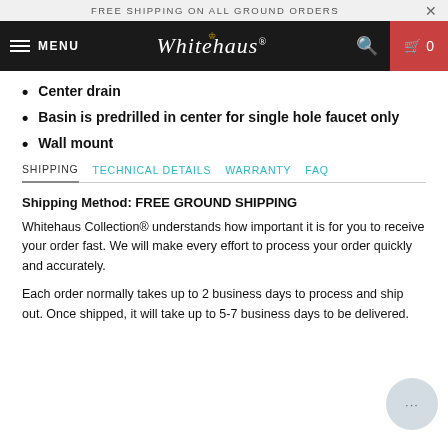FREE SHIPPING ON ALL GROUND ORDERS
[Figure (screenshot): Whitehaus website navigation bar with hamburger menu, Whitehaus logo, search icon, and cart button showing 0 items]
Center drain
Basin is predrilled in center for single hole faucet only
Wall mount
SHIPPING  TECHNICAL DETAILS  WARRANTY  FAQ
Shipping Method: FREE GROUND SHIPPING
Whitehaus Collection® understands how important it is for you to receive your order fast. We will make every effort to process your order quickly and accurately.
Each order normally takes up to 2 business days to process and ship out. Once shipped, it will take up to 5-7 business days to be delivered.